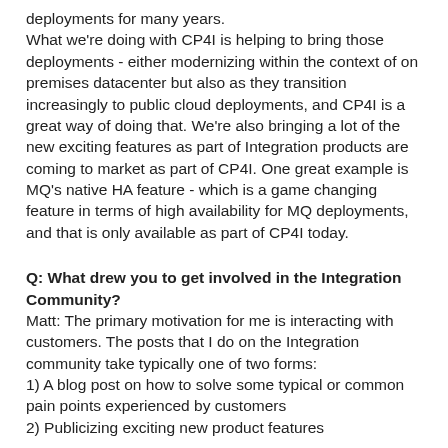deployments for many years. What we're doing with CP4I is helping to bring those deployments - either modernizing within the context of on premises datacenter but also as they transition increasingly to public cloud deployments, and CP4I is a great way of doing that. We're also bringing a lot of the new exciting features as part of Integration products are coming to market as part of CP4I. One great example is MQ's native HA feature - which is a game changing feature in terms of high availability for MQ deployments, and that is only available as part of CP4I today.
Q: What drew you to get involved in the Integration Community?
Matt: The primary motivation for me is interacting with customers. The posts that I do on the Integration community take typically one of two forms:
1) A blog post on how to solve some typical or common pain points experienced by customers
2) Publicizing exciting new product features
Q: If customers were not aware of the community site, where would they typically go to get information?
Matt: There are a range of mediums for our customers - we have the IBM Documentation site and Support portal,